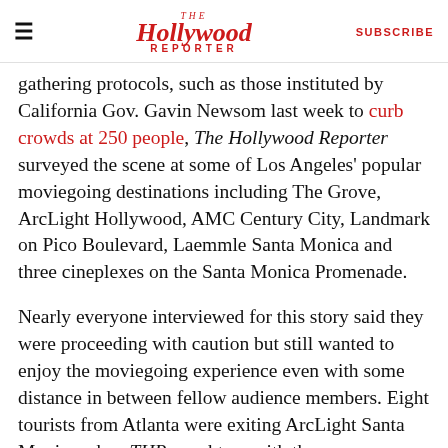The Hollywood Reporter | SUBSCRIBE
gathering protocols, such as those instituted by California Gov. Gavin Newsom last week to curb crowds at 250 people, The Hollywood Reporter surveyed the scene at some of Los Angeles' popular moviegoing destinations including The Grove, ArcLight Hollywood, AMC Century City, Landmark on Pico Boulevard, Laemmle Santa Monica and three cineplexes on the Santa Monica Promenade.
Nearly everyone interviewed for this story said they were proceeding with caution but still wanted to enjoy the moviegoing experience even with some distance in between fellow audience members. Eight tourists from Atlanta were exiting ArcLight Santa Monica when THR caught up with them.